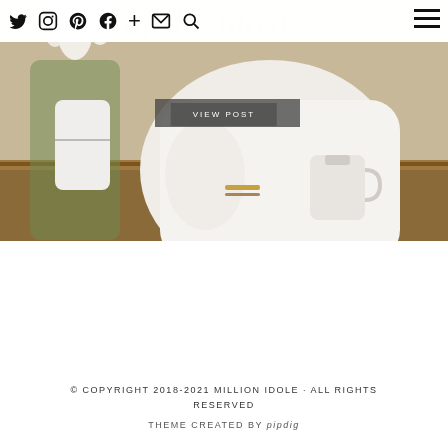Twitter Instagram Pinterest Facebook + Mail Search [hamburger menu]
[Figure (photo): A person in a white shirt leaning against a kitchen counter, holding a white mug. There are white tulips in a vase and a marble/granite countertop visible.]
VIEW POST
© COPYRIGHT 2018-2021 MILLION IDOLE · ALL RIGHTS RESERVED
THEME CREATED BY pipdig